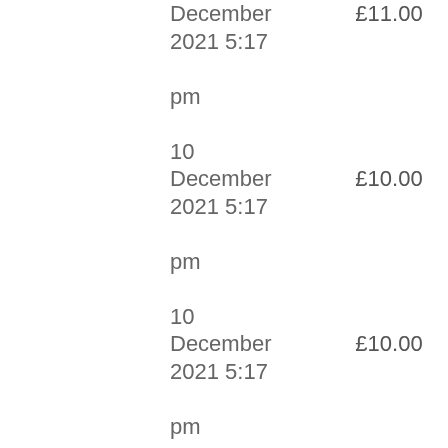| Date | Amount | User |
| --- | --- | --- |
| 10 December 2021 5:17 pm | £11.00 | ccwmjones |
| 10 December 2021 5:17 pm | £10.00 | paulaispurpleAu |
| 10 December 2021 5:17 pm | £10.00 | ccwmjones |
| 10 December 2021 5:17 pm | £9.00 | paulaispurpleAu |